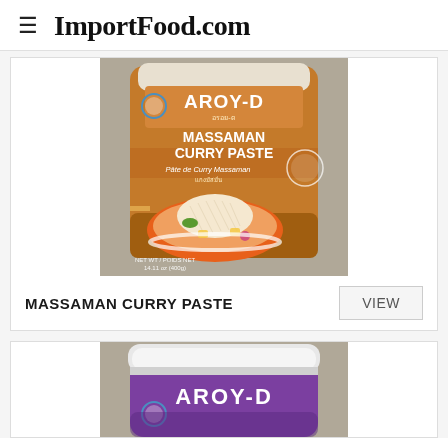ImportFood.com
[Figure (photo): AROY-D Massaman Curry Paste product container, brown/orange color, showing label with bowl of curry]
MASSAMAN CURRY PASTE
[Figure (photo): AROY-D curry paste product container, purple/violet color, partially visible at bottom of page]